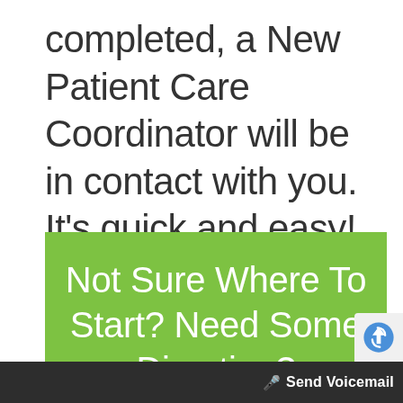completed, a New Patient Care Coordinator will be in contact with you. It's quick and easy!
Not Sure Where To Start? Need Some Direction?
Send Voicemail